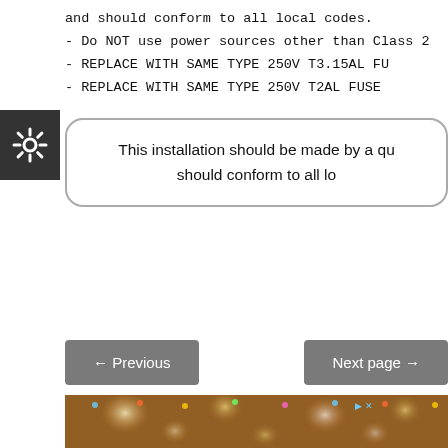and should conform to all local codes.
- Do NOT use power sources other than Class 2
- REPLACE WITH SAME TYPE 250V T3.15AL FU
- REPLACE WITH SAME TYPE 250V T2AL FUSE
This installation should be made by a qu should conform to all lo
← Previous    Next page →
[Figure (photo): Blurred photo of a festively decorated restaurant interior with string lights, lanterns, and balloon decorations overhead, showing dining tables and chairs below.]